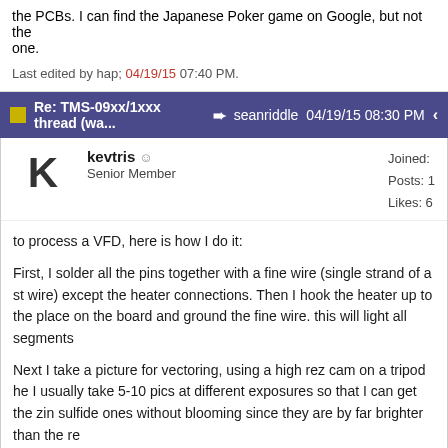the PCBs. I can find the Japanese Poker game on Google, but not the one.
Last edited by hap; 04/19/15 07:40 PM.
Re: TMS-09xx/1xxx thread (wa... → seanriddle 04/19/15 08:30 PM
kevtris ☺ Senior Member
Joined: Posts: 1 Likes: 6
to process a VFD, here is how I do it:
First, I solder all the pins together with a fine wire (single strand of a st wire) except the heater connections. Then I hook the heater up to the place on the board and ground the fine wire. this will light all segments
Next I take a picture for vectoring, using a high rez cam on a tripod he I usually take 5-10 pics at different exposures so that I can get the zin sulfide ones without blooming since they are by far brighter than the re
After that, I vector it, and then desolder the wire while still leaving the h hooked up, and finally I use a micro hook clip lead + a wire to do the p connection to 2 (left to at top) to avoid the stacking in the midto